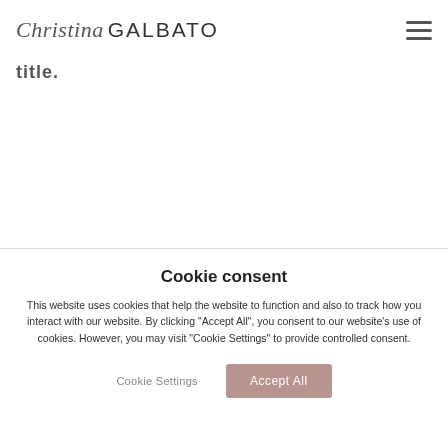Christina GALBATO
title.
Cookie consent
This website uses cookies that help the website to function and also to track how you interact with our website. By clicking "Accept All", you consent to our website's use of cookies. However, you may visit "Cookie Settings" to provide controlled consent.
Cookie Settings | Accept All